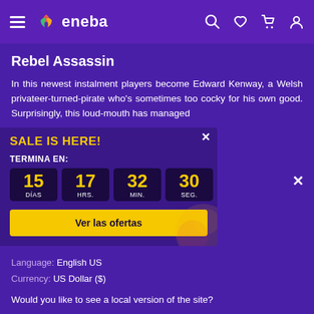[Figure (screenshot): Eneba website navigation bar with hamburger menu, eneba logo (colorful flame icon), search icon, heart icon, cart icon, and user icon on purple background]
Rebel Assassin
In this newest instalment players become Edward Kenway, a Welsh privateer-turned-pirate who's sometimes too cocky for his own good. Surprisingly, this loud-mouth has managed
e in
d States of
ica
Language: English US
Currency: US Dollar ($)
Would you like to see a local version of the site?
Yes
SALE IS HERE!
TERMINA EN:
15 DÍAS  17 HRS.  32 MIN.  30 SEG.
Ver las ofertas